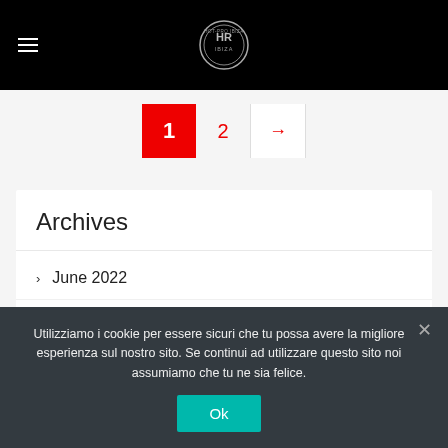Navigation header with hamburger menu and circular logo
1  2  →
Archives
> June 2022
> April 2022
> March 2022
Utilizziamo i cookie per essere sicuri che tu possa avere la migliore esperienza sul nostro sito. Se continui ad utilizzare questo sito noi assumiamo che tu ne sia felice.
Ok